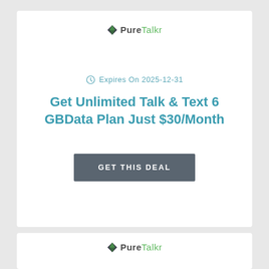[Figure (logo): PureTalkr logo with diamond icon, top card]
Expires On 2025-12-31
Get Unlimited Talk & Text 6 GBData Plan Just $30/Month
GET THIS DEAL
[Figure (logo): PureTalkr logo with diamond icon, bottom card]